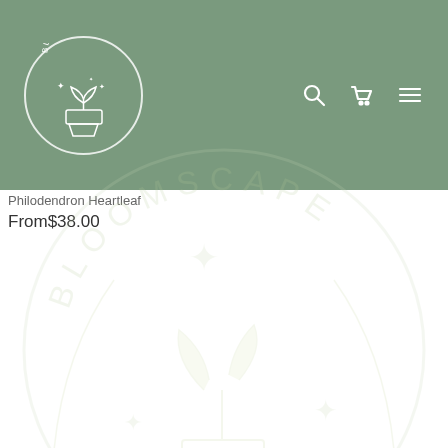[Figure (logo): Bloomscape logo — circular badge with plant-in-pot icon and 'BLOOMSCAPE' text around the ring, white on sage green header background]
Bloomscape navigation header with search, cart, and menu icons
Philodendron Heartleaf
From$38.00
[Figure (logo): Large watermark Bloomscape logo — faint light-colored circular logo with 'BLOOMSCAPE' arc text, sparkle stars, and plant-in-pot illustration centered on white background]